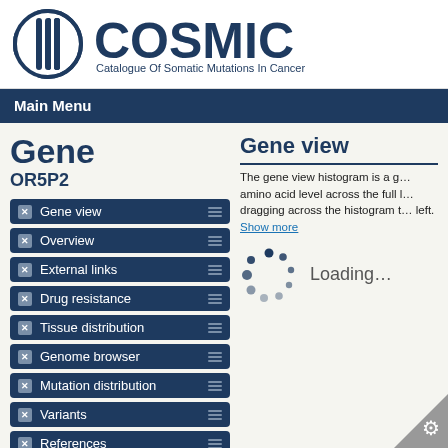[Figure (logo): COSMIC logo with circular emblem and text 'COSMIC Catalogue Of Somatic Mutations In Cancer']
Main Menu
Gene
OR5P2
Gene view
Overview
External links
Drug resistance
Tissue distribution
Genome browser
Mutation distribution
Variants
References
Reset page
Gene view
The gene view histogram is a g… amino acid level across the full l… dragging across the histogram t… left. Show more
[Figure (other): Loading spinner animation with dots and 'Loading...' text]